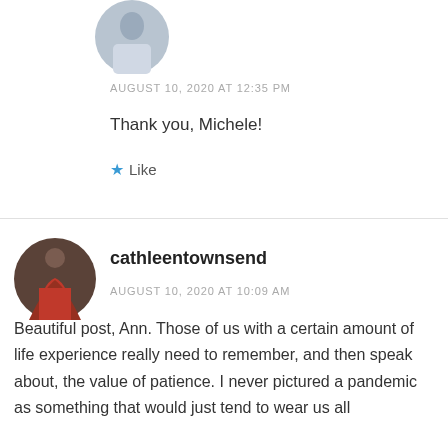[Figure (photo): Circular avatar photo of a person in white top at top of page]
AUGUST 10, 2020 AT 12:35 PM
Thank you, Michele!
★ Like
[Figure (photo): Circular avatar photo showing a figure in red cloak walking away]
cathleentownsend
AUGUST 10, 2020 AT 10:09 AM
Beautiful post, Ann. Those of us with a certain amount of life experience really need to remember, and then speak about, the value of patience. I never pictured a pandemic as something that would just tend to wear us all